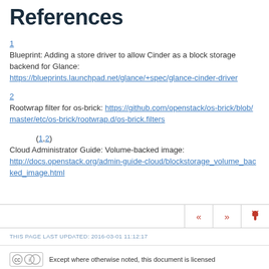References
1
Blueprint: Adding a store driver to allow Cinder as a block storage backend for Glance:
https://blueprints.launchpad.net/glance/+spec/glance-cinder-driver
2
Rootwrap filter for os-brick: https://github.com/openstack/os-brick/blob/master/etc/os-brick/rootwrap.d/os-brick.filters
(1,2)
Cloud Administrator Guide: Volume-backed image:
http://docs.openstack.org/admin-guide-cloud/blockstorage_volume_backed_image.html
THIS PAGE LAST UPDATED: 2016-03-01 11:12:17
Except where otherwise noted, this document is licensed